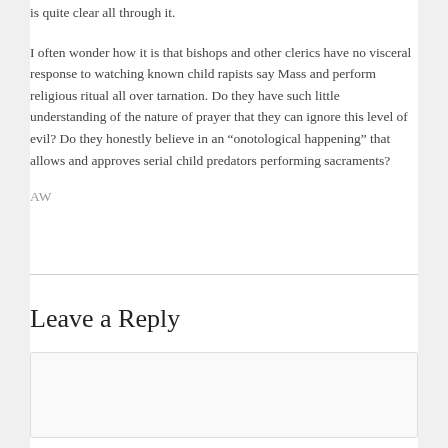is quite clear all through it.
I often wonder how it is that bishops and other clerics have no visceral response to watching known child rapists say Mass and perform religious ritual all over tarnation. Do they have such little understanding of the nature of prayer that they can ignore this level of evil? Do they honestly believe in an “onotological happening” that allows and approves serial child predators performing sacraments?
AW
Leave a Reply